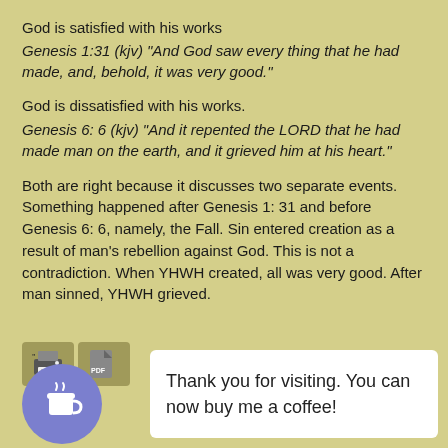God is satisfied with his works
Genesis 1:31 (kjv) "And God saw every thing that he had made, and, behold, it was very good."
God is dissatisfied with his works.
Genesis 6: 6 (kjv) "And it repented the LORD that he had made man on the earth, and it grieved him at his heart."
Both are right because it discusses two separate events. Something happened after Genesis 1: 31 and before Genesis 6: 6, namely, the Fall. Sin entered creation as a result of man's rebellion against God. This is not a contradiction. When YHWH created, all was very good. After man sinned, YHWH grieved.
[Figure (illustration): Print icon and PDF icon buttons, plus a circular blue coffee cup badge icon]
Thank you for visiting. You can now buy me a coffee!